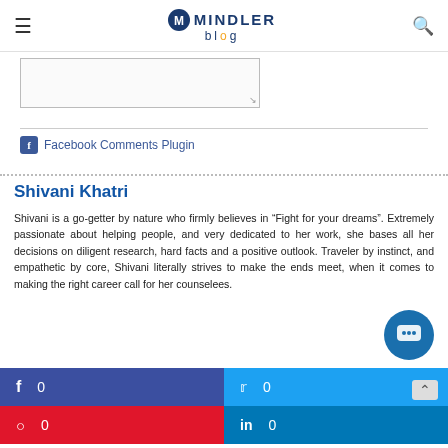MINDLER blog
[Figure (screenshot): Text input textarea (partially visible, empty)]
Facebook Comments Plugin
Shivani Khatri
Shivani is a go-getter by nature who firmly believes in “Fight for your dreams”. Extremely passionate about helping people, and very dedicated to her work, she bases all her decisions on diligent research, hard facts and a positive outlook. Traveler by instinct, and empathetic by core, Shivani literally strives to make the ends meet, when it comes to making the right career call for her counselees.
f  0
Twitter  0
Pinterest  0
LinkedIn  0